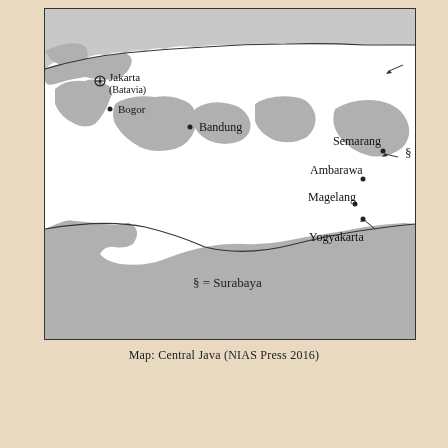[Figure (map): Map of Central Java showing cities: Jakarta (Batavia), Bogor, Bandung, Semarang (marked with §), Ambarawa, Magelang, Yogyakarta, and a legend '§ = Surabaya'. Topographic shading shows highland/lowland areas.]
Map: Central Java (NIAS Press 2016)